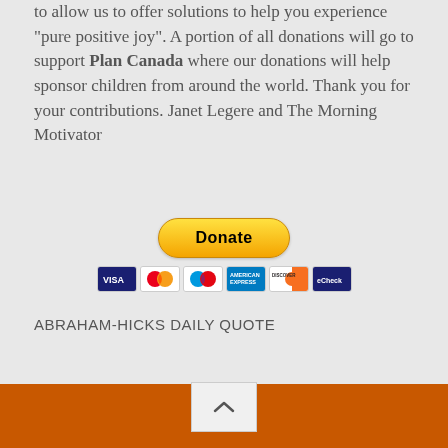to allow us to offer solutions to help you experience "pure positive joy". A portion of all donations will go to support Plan Canada where our donations will help sponsor children from around the world. Thank you for your contributions. Janet Legere and The Morning Motivator
[Figure (other): PayPal Donate button with payment card icons (Visa, Mastercard, Maestro, American Express, Discover, and another card)]
ABRAHAM-HICKS DAILY QUOTE
WATCH THE DREAM BIG MOVIE
[Figure (other): Broken image placeholder labeled DREAM BIG Movie]
Back to top button with orange footer bar